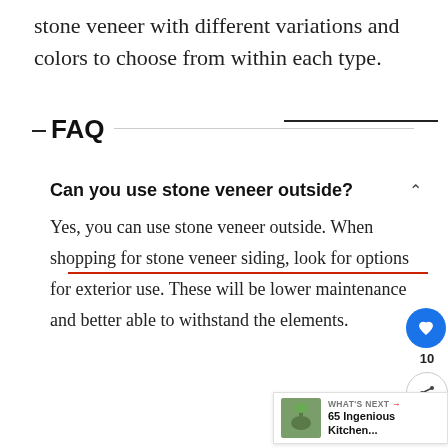stone veneer with different variations and colors to choose from within each type.
FAQ
Can you use stone veneer outside?
Yes, you can use stone veneer outside. When shopping for stone veneer siding, look for options for exterior use. These will be lower maintenance and better able to withstand the elements.